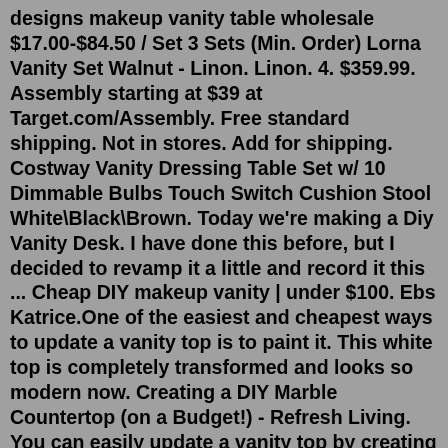designs makeup vanity table wholesale $17.00-$84.50 / Set 3 Sets (Min. Order) Lorna Vanity Set Walnut - Linon. Linon. 4. $359.99. Assembly starting at $39 at Target.com/Assembly. Free standard shipping. Not in stores. Add for shipping. Costway Vanity Dressing Table Set w/ 10 Dimmable Bulbs Touch Switch Cushion Stool White\Black\Brown. Today we're making a Diy Vanity Desk. I have done this before, but I decided to revamp it a little and record it this ... Cheap DIY makeup vanity | under $100. Ebs Katrice.One of the easiest and cheapest ways to update a vanity top is to paint it. This white top is completely transformed and looks so modern now. Creating a DIY Marble Countertop (on a Budget!) - Refresh Living. You can easily update a vanity top by creating a DIY marble finish. This is another inexpensive update and can be done for under $50!Virtu USA Caroline Parkway 72" Double Bath Vanity in White with Quartz Top and Sinks #MD-2172-CMSQ-WH-002. $4,109.00. List Price: $6,159.00. 33% OFF. Free Shipping! Virtu USA